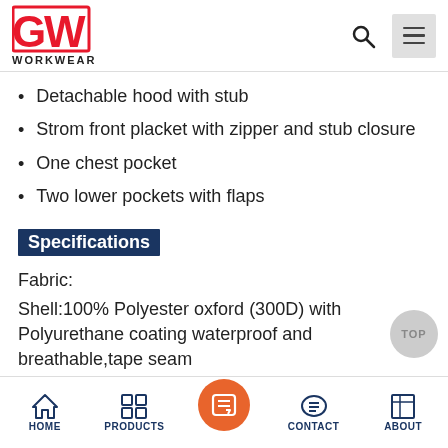GW WORKWEAR
Detachable hood with stub
Strom front placket with zipper and stub closure
One chest pocket
Two lower pockets with flaps
Specifications
Fabric:
Shell:100% Polyester oxford (300D) with Polyurethane coating waterproof and breathable,tape seam
Reflective tape: 3M Scotchlite
Color:can be customized as requested
HOME  PRODUCTS  CONTACT  ABOUT